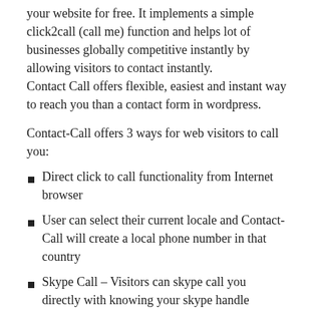your website for free. It implements a simple click2call (call me) function and helps lot of businesses globally competitive instantly by allowing visitors to contact instantly. Contact Call offers flexible, easiest and instant way to reach you than a contact form in wordpress.
Contact-Call offers 3 ways for web visitors to call you:
Direct click to call functionality from Internet browser
User can select their current locale and Contact-Call will create a local phone number in that country
Skype Call – Visitors can skype call you directly with knowing your skype handle
You (website owner) can take the call directly on your Skype, GTalk, Google voice, Mobile or Landline